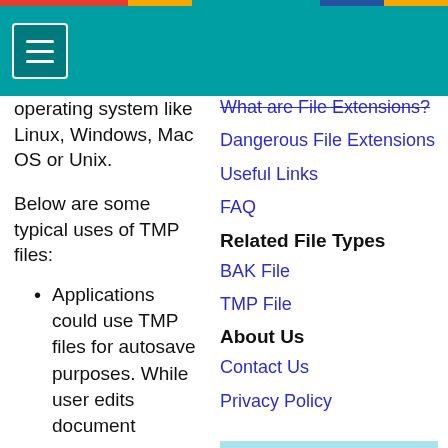Header navigation bar with hamburger menu icon
operating system like Linux, Windows, Mac OS or Unix.
Below are some typical uses of TMP files:
Applications could use TMP files for autosave purposes. While user edits document
What are File Extensions?
Dangerous File Extensions
Useful Links
FAQ
Related File Types
BAK File
TMP File
About Us
Contact Us
Privacy Policy
PART Quick Info
Mozilla Firefox Partial Download File